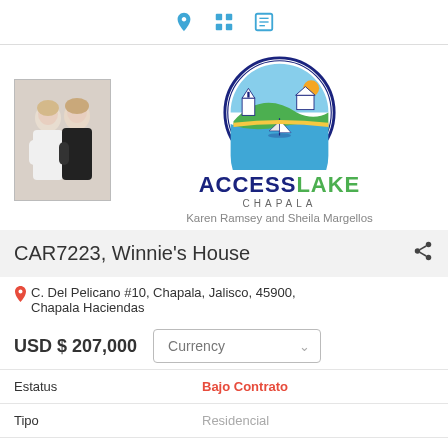[Figure (logo): AccessLake Chapala logo circle with sailboat, house, hills, and sun motif]
[Figure (photo): Two women agents, Karen Ramsey and Sheila Margellos, posed together]
ACCESS LAKE
CHAPALA
Karen Ramsey and Sheila Margellos
CAR7223, Winnie's House
C. Del Pelicano #10, Chapala, Jalisco, 45900, Chapala Haciendas
USD $ 207,000
| Field | Value |
| --- | --- |
| Estatus | Bajo Contrato |
| Tipo | Residencial |
| Region | Chapala Haciendas |
| Recamaras | 2 |
| Baños | 2 |
| Pisos | 1 |
| Terreno m² | 414 |